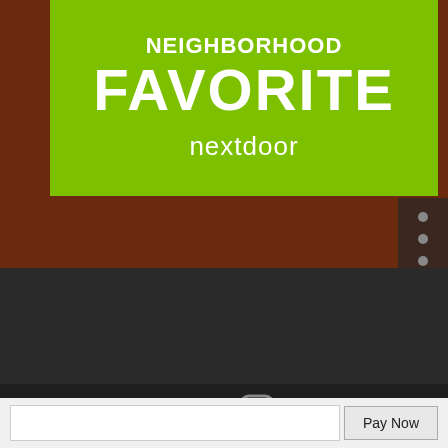[Figure (screenshot): Nextdoor Neighborhood Favorite badge on a wood-textured background. Green card shows 'NEIGHBORHOOD FAVORITE' in large white bold text with 'nextdoor' branding below. Navigation dots on the right side. Dark footer section with Facebook and Instagram social icons. Pay Now button at bottom.]
NEIGHBORHOOD
FAVORITE
nextdoor
f
Pay Now